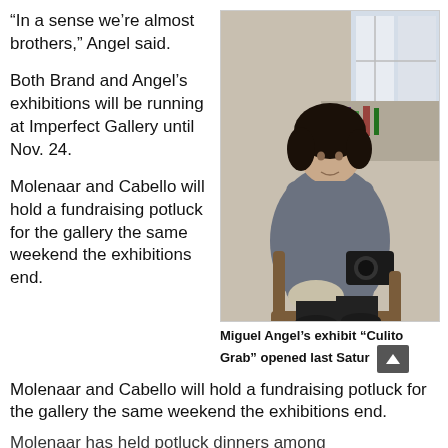“In a sense we’re almost brothers,” Angel said.
[Figure (photo): Miguel Angel sitting in a chair indoors, wearing a grey hoodie and holding a camera, with shelves and bottles visible in the background.]
Both Brand and Angel’s exhibitions will be running at Imperfect Gallery until Nov. 24.
Miguel Angel’s exhibit “Culito Grab” opened last Satur
Molenaar and Cabello will hold a fundraising potluck for the gallery the same weekend the exhibitions end.
Molenaar has held potluck dinners among...